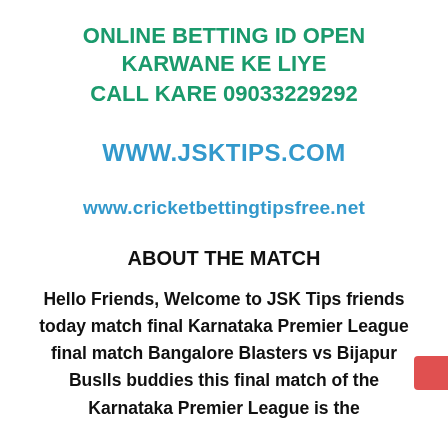ONLINE BETTING ID OPEN KARWANE KE LIYE
CALL KARE 09033229292
WWW.JSKTIPS.COM
www.cricketbettingtipsfree.net
ABOUT THE MATCH
Hello Friends, Welcome to JSK Tips friends today match final Karnataka Premier League final match Bangalore Blasters vs Bijapur Buslls buddies this final match of the Karnataka Premier League is the